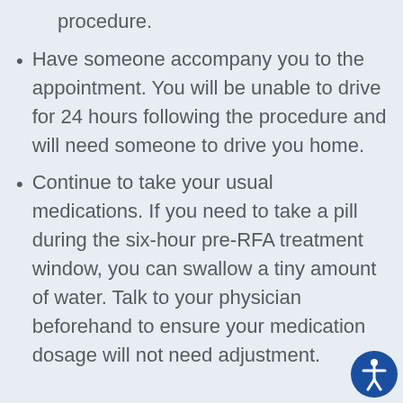procedure.
Have someone accompany you to the appointment. You will be unable to drive for 24 hours following the procedure and will need someone to drive you home.
Continue to take your usual medications. If you need to take a pill during the six-hour pre-RFA treatment window, you can swallow a tiny amount of water. Talk to your physician beforehand to ensure your medication dosage will not need adjustment.